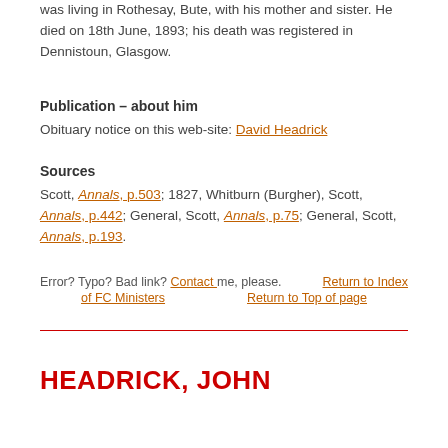was living in Rothesay, Bute, with his mother and sister. He died on 18th June, 1893; his death was registered in Dennistoun, Glasgow.
Publication – about him
Obituary notice on this web-site: David Headrick
Sources
Scott, Annals, p.503; 1827, Whitburn (Burgher), Scott, Annals, p.442; General, Scott, Annals, p.75; General, Scott, Annals, p.193.
Error? Typo? Bad link? Contact me, please.    Return to Index of FC Ministers    Return to Top of page
HEADRICK, JOHN